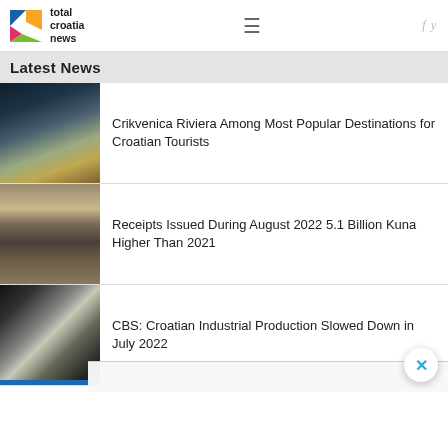total croatia news
Latest News
[Figure (photo): Dark dramatic sky over water/sea]
Crikvenica Riviera Among Most Popular Destinations for Croatian Tourists
[Figure (photo): Old stone street with potted plants]
Receipts Issued During August 2022 5.1 Billion Kuna Higher Than 2021
[Figure (photo): Industrial worker with sparks, metalworking]
CBS: Croatian Industrial Production Slowed Down in July 2022